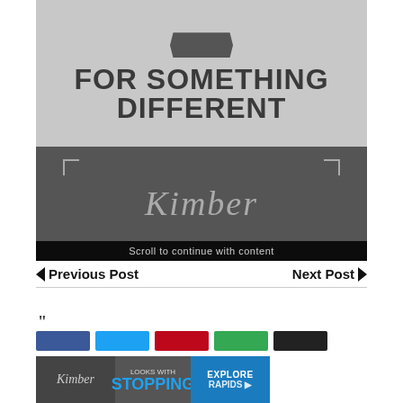[Figure (photo): Kimber advertisement in black and white. Top half shows light gray background with dark bold text 'FOR SOMETHING DIFFERENT'. Bottom half is dark gray with Kimber cursive script logo and corner bracket decorations. A black bar at the bottom reads 'Scroll to continue with content'.]
Scroll to continue with content
Previous Post
Next Post
"
[Figure (advertisement): Kimber advertisement banner at bottom showing cursive Kimber logo on dark background, text 'LOOKS WITH STOPPING', and 'EXPLORE' on blue background.]